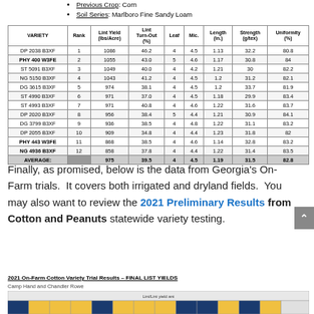Previous Crop: Corn
Soil Series: Marlboro Fine Sandy Loam
| VARIETY | Rank | Lint Yield (lbs/Acre) | Lint Turn-Out (%) | Leaf | Mic. | Length (in.) | Strength (g/tex) | Uniformity (%) |
| --- | --- | --- | --- | --- | --- | --- | --- | --- |
| DP 2038 B3XF | 1 | 1086 | 46.2 | 4 | 4.5 | 1.13 | 32.2 | 80.8 |
| PHY 400 W3FE | 2 | 1055 | 43.0 | 5 | 4.6 | 1.17 | 30.8 | 84 |
| ST 5091 B3XF | 3 | 1049 | 40.0 | 4 | 4.2 | 1.21 | 30 | 82.2 |
| NG 5150 B3XF | 4 | 1043 | 41.2 | 4 | 4.5 | 1.2 | 31.2 | 82.1 |
| DG 3615 B3XF | 5 | 974 | 38.1 | 4 | 4.5 | 1.2 | 33.7 | 81.9 |
| ST 4990 B3XF | 6 | 971 | 37.0 | 4 | 4.5 | 1.18 | 29.9 | 83.4 |
| ST 4993 B3XF | 7 | 971 | 40.8 | 4 | 4.6 | 1.22 | 31.6 | 83.7 |
| DP 2020 B3XF | 8 | 956 | 38.4 | 5 | 4.4 | 1.21 | 30.9 | 84.1 |
| DG 3799 B3XF | 9 | 936 | 38.5 | 4 | 4.8 | 1.22 | 31.1 | 83.2 |
| DP 2055 B3XF | 10 | 909 | 34.8 | 4 | 4.4 | 1.23 | 31.8 | 82 |
| PHY 443 W3FE | 11 | 868 | 38.5 | 4 | 4.6 | 1.14 | 32.8 | 83.2 |
| NG 4936 B3XF | 12 | 858 | 37.8 | 4 | 4.4 | 1.22 | 31.4 | 83.5 |
| AVERAGE: |  | 975 | 39.5 | 4 | 4.5 | 1.19 | 31.5 | 82.8 |
Finally, as promised, below is the data from Georgia's On-Farm trials.  It covers both irrigated and dryland fields.  You may also want to review the 2021 Preliminary Results from Cotton and Peanuts statewide variety testing.
2021 On-Farm Cotton Variety Trial Results – FINAL LIST YIELDS
Camp Hand and Chandler Rowe
[Figure (table-as-image): Partial table image showing colored bar chart header row for On-Farm Cotton Variety Trial Results]